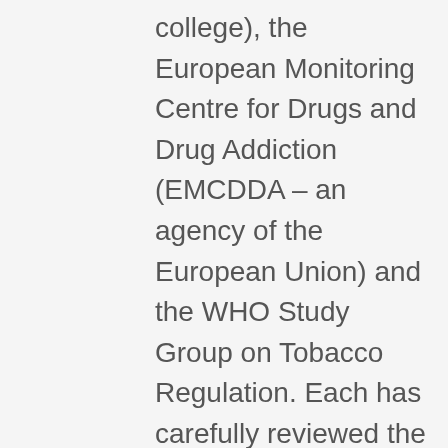college), the European Monitoring Centre for Drugs and Drug Addiction (EMCDDA – an agency of the European Union) and the WHO Study Group on Tobacco Regulation. Each has carefully reviewed the evidence and concluded health is better served with these products available but regulated. Even the Commission's own committee (SCENIHR) could not hide the inconvenient truth that low nitrosamine snus is a benefit to health, at least where the EU allows it to be sold – in Sweden. To ban a